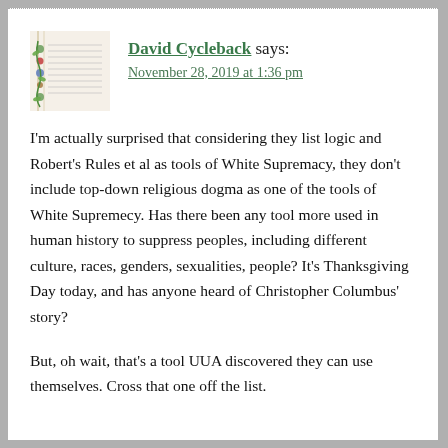[Figure (photo): Small square avatar image showing a decorative illuminated manuscript page with colorful floral and botanical motifs in green, red, and blue.]
David Cycleback says:
November 28, 2019 at 1:36 pm
I'm actually surprised that considering they list logic and Robert's Rules et al as tools of White Supremacy, they don't include top-down religious dogma as one of the tools of White Supremecy. Has there been any tool more used in human history to suppress peoples, including different culture, races, genders, sexualities, people? It's Thanksgiving Day today, and has anyone heard of Christopher Columbus' story?
But, oh wait, that's a tool UUA discovered they can use themselves. Cross that one off the list.